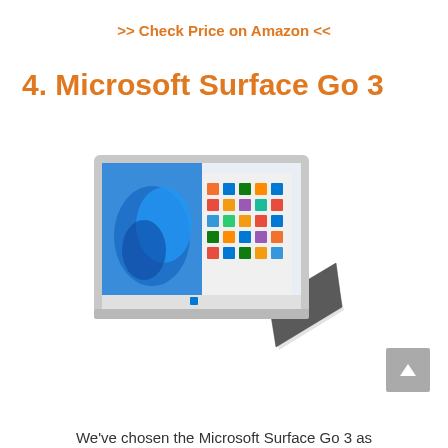>> Check Price on Amazon <<
4. Microsoft Surface Go 3
[Figure (photo): Microsoft Surface Go 3 tablet shown in kickstand mode displaying Windows 11 Start screen with blue Windows logo]
We've chosen the Microsoft Surface Go 3 as